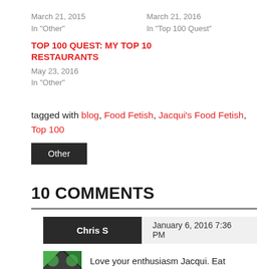March 21, 2015
In "Other"
March 21, 2016
In "Top 100 Quest"
TOP 100 QUEST: MY TOP 10 RESTAURANTS
May 23, 2016
In "Other"
tagged with blog, Food Fetish, Jacqui's Food Fetish, Top 100
Other
10 COMMENTS
Chris S
January 6, 2016 7:36 PM
Love your enthusiasm Jacqui. Eat